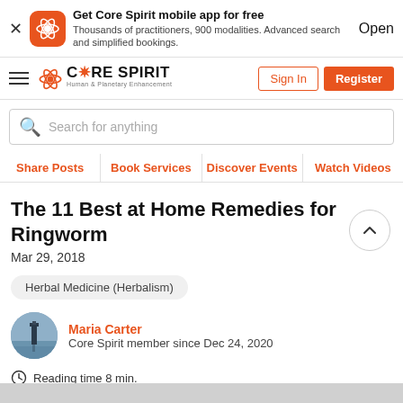Get Core Spirit mobile app for free
Thousands of practitioners, 900 modalities. Advanced search and simplified bookings.
Open
[Figure (logo): Core Spirit logo with atom icon and text 'CORE SPIRIT Human & Planetary Enhancement']
Sign In | Register
Search for anything
Share Posts | Book Services | Discover Events | Watch Videos
The 11 Best at Home Remedies for Ringworm
Mar 29, 2018
Herbal Medicine (Herbalism)
Maria Carter
Core Spirit member since Dec 24, 2020
Reading time 8 min.